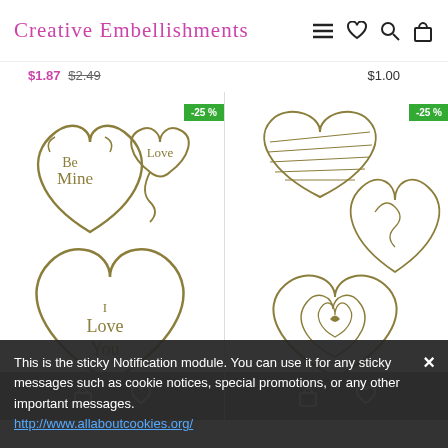Creative Embellishments — navigation header with menu, heart, search, and bag icons
$1.87  $2.49 (strikethrough)   $1.00
[Figure (illustration): Two decorative chipboard heart embellishments with calligraphy text 'Be Mine', 'Love', 'I Love You' in gold/tan color, with a -25% green badge]
[Figure (illustration): Three decorative heart embellishments with sketch/doodle style lines in gold/tan color, with a -25% green badge]
This is the sticky Notification module. You can use it for any sticky messages such as cookie notices, special promotions, or any other important messages. http://www.allaboutcookies.org/